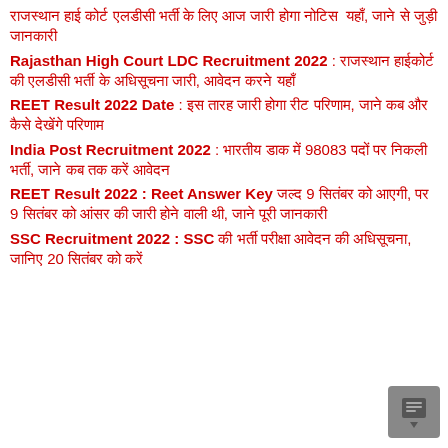राजस्थान हाई कोर्ट एलडीसी भर्ती के लिए आज जारी होगा नोटिस  यहाँ, जाने से जुड़ी जानकारी
Rajasthan High Court LDC Recruitment 2022 : राजस्थान हाईकोर्ट की एलडीसी भर्ती के अधिसूचना जारी, आवेदन करने यहाँ
REET Result 2022 Date : इस तारह जारी होगा रीट परिणाम, जाने कब और कैसे देखेंगे परिणाम
India Post Recruitment 2022 : भारतीय डाक में 98083 पदों पर निकली भर्ती, जाने कब तक करें आवेदन
REET Result 2022 : Reet Answer Key जल्द 9 सितंबर को आएगी, पर 9 सितंबर को आंसर की जारी होने वाली थी, जाने पूरी जानकारी
SSC Recruitment 2022 : SSC की भर्ती परीक्षा आवेदन की अधिसूचना, जानिए 20 सितंबर को करें